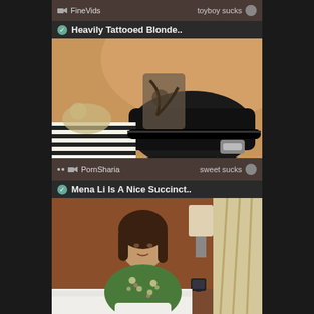FineVids   toyboy sucks
Heavily Tattooed Blonde..
[Figure (photo): Close-up photo showing tattooed leg/ankle with black high-heeled shoe and striped fabric]
PornSharia   sweet sucks
Mena Li Is A Nice Succinct..
[Figure (photo): Woman with dark hair wearing green floral blouse sitting on white bed in hotel room]